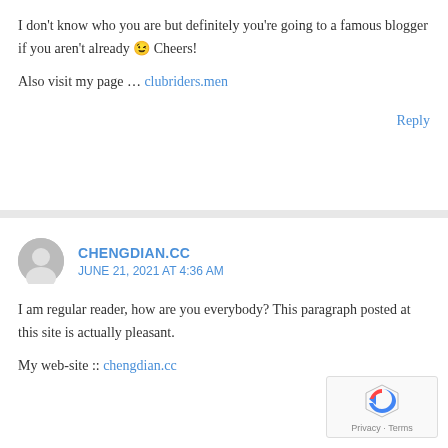I don't know who you are but definitely you're going to a famous blogger if you aren't already 😉 Cheers!
Also visit my page … clubriders.men
Reply
CHENGDIAN.CC
JUNE 21, 2021 AT 4:36 AM
I am regular reader, how are you everybody? This paragraph posted at this site is actually pleasant.
My web-site :: chengdian.cc